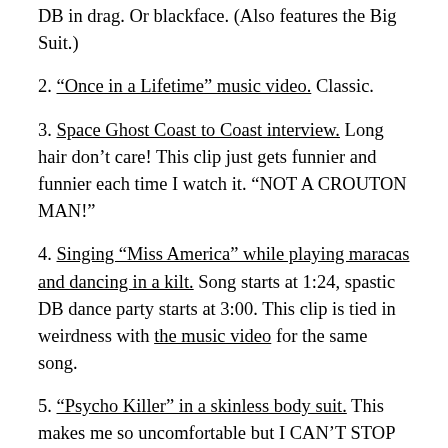DB in drag. Or blackface. (Also features the Big Suit.)
2. “Once in a Lifetime” music video. Classic.
3. Space Ghost Coast to Coast interview. Long hair don’t care! This clip just gets funnier and funnier each time I watch it. “NOT A CROUTON MAN!”
4. Singing “Miss America” while playing maracas and dancing in a kilt. Song starts at 1:24, spastic DB dance party starts at 3:00. This clip is tied in weirdness with the music video for the same song.
5. “Psycho Killer” in a skinless body suit. This makes me so uncomfortable but I CAN’T STOP WATCHING.
And to not end on such a creepy note, here is a